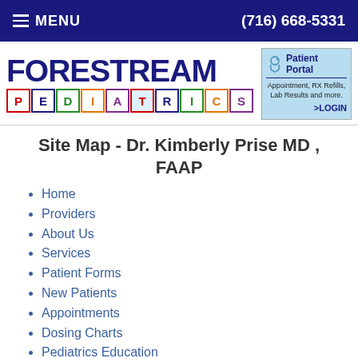MENU  (716) 668-5331
[Figure (logo): Forestream Pediatrics logo with colorful block letters spelling PEDIATRICS and a Patient Portal box with stethoscope icon showing Appointment, RX Refills, Lab Results and more. >LOGIN]
Site Map - Dr. Kimberly Prise MD , FAAP
Home
Providers
About Us
Services
Patient Forms
New Patients
Appointments
Dosing Charts
Pediatrics Education
Center for Disease Control and Prevention